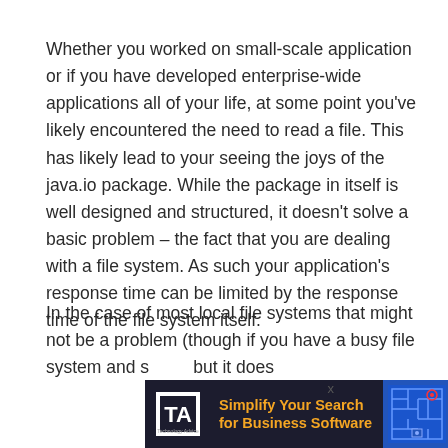Whether you worked on small-scale application or if you have developed enterprise-wide applications all of your life, at some point you've likely encountered the need to read a file. This has likely lead to your seeing the joys of the java.io package. While the package in itself is well designed and structured, it doesn't solve a basic problem – the fact that you are dealing with a file system. As such your application's response time can be limited by the response time of the file system itself.
In the case of most local file systems that might not be a problem (though if you have a busy file system and s... but it does...
[Figure (other): Advertisement banner: 'Simplify Your Search for Business Software' with TA logo and maze graphic]